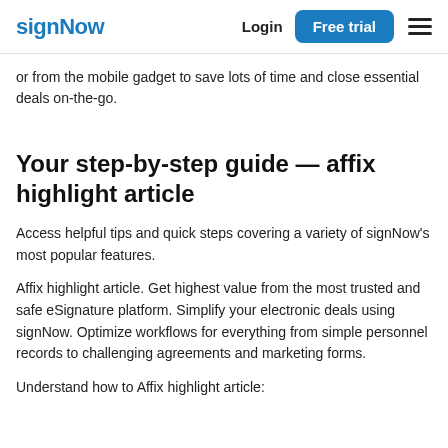signNow | Login | Free trial
or from the mobile gadget to save lots of time and close essential deals on-the-go.
Your step-by-step guide — affix highlight article
Access helpful tips and quick steps covering a variety of signNow’s most popular features.
Affix highlight article. Get highest value from the most trusted and safe eSignature platform. Simplify your electronic deals using signNow. Optimize workflows for everything from simple personnel records to challenging agreements and marketing forms.
Understand how to Affix highlight article: